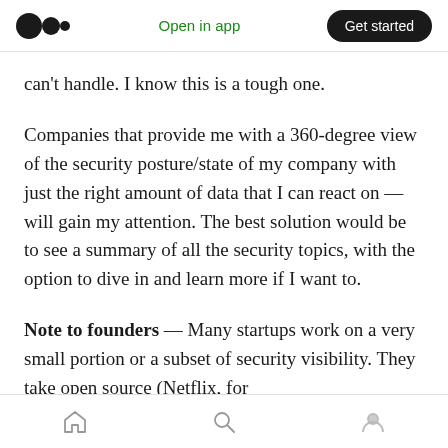Medium app header with logo, Open in app, Get started
can't handle. I know this is a tough one.
Companies that provide me with a 360-degree view of the security posture/state of my company with just the right amount of data that I can react on — will gain my attention. The best solution would be to see a summary of all the security topics, with the option to dive in and learn more if I want to.
Note to founders — Many startups work on a very small portion or a subset of security visibility. They take open source (Netflix, for
Bottom navigation bar with home, search, and profile icons